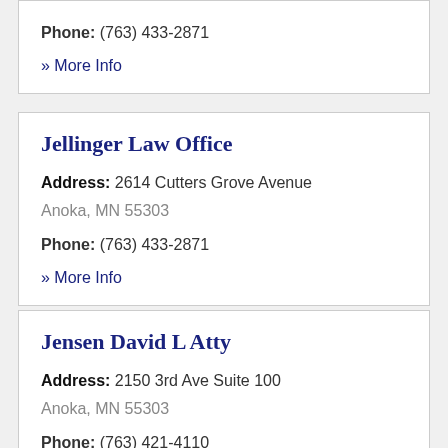Phone: (763) 433-2871
» More Info
Jellinger Law Office
Address: 2614 Cutters Grove Avenue
Anoka, MN 55303
Phone: (763) 433-2871
» More Info
Jensen David L Atty
Address: 2150 3rd Ave Suite 100
Anoka, MN 55303
Phone: (763) 421-4110